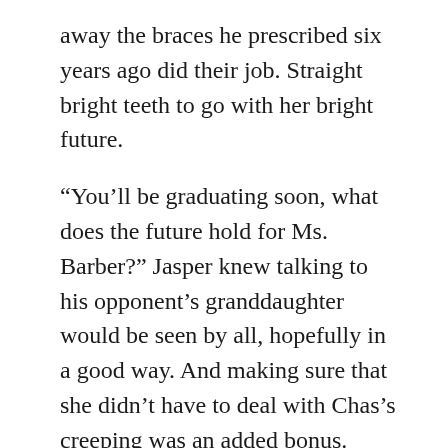away the braces he prescribed six years ago did their job. Straight bright teeth to go with her bright future.
“You’ll be graduating soon, what does the future hold for Ms. Barber?” Jasper knew talking to his opponent’s granddaughter would be seen by all, hopefully in a good way. And making sure that she didn’t have to deal with Chas’s creeping was an added bonus.
“I still don’t know.” She looked down at her feet for a moment. “I mean college is definitely my plan, someplace local. No one stays away from Kindton too long. I won’t be the first!”
“I didn’t know I was going into dentistry until I realized we didn’t have any in these parts. It seemed like a good